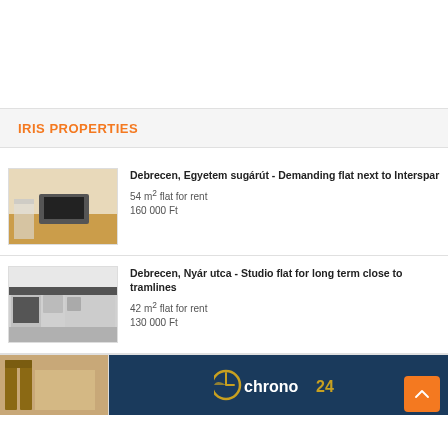IRIS PROPERTIES
Debrecen, Egyetem sugárút - Demanding flat next to Interspar
54 m² flat for rent
160 000 Ft
Debrecen, Nyár utca - Studio flat for long term close to tramlines
42 m² flat for rent
130 000 Ft
[Figure (photo): Interior room with TV and furniture - listing 1]
[Figure (photo): Kitchen with appliances - listing 2]
[Figure (photo): Third listing partial photo]
[Figure (photo): Chrono24 advertisement banner]